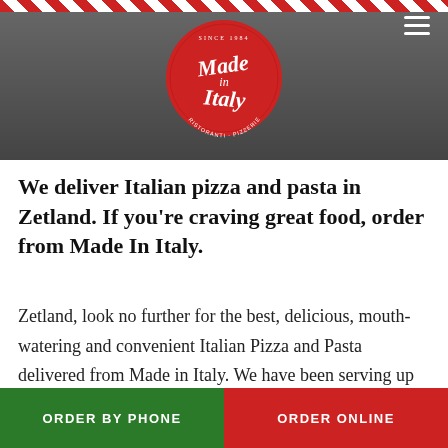[Figure (photo): Top banner with dark restaurant background image and diagonal red/white stripes at top edge]
[Figure (logo): Made in Italy circular red logo with white handwritten text 'Made in Italy' and tagline 'Ristoranti - Pizzerie', 'Since 1984']
We deliver Italian pizza and pasta in Zetland. If you're craving great food, order from Made In Italy.
Zetland, look no further for the best, delicious, mouth-watering and convenient Italian Pizza and Pasta delivered from Made in Italy. We have been serving up local favourites including the best gourmet Italian pizzas and hand-made pastas the area has to offer plus we
ORDER BY PHONE    ORDER ONLINE